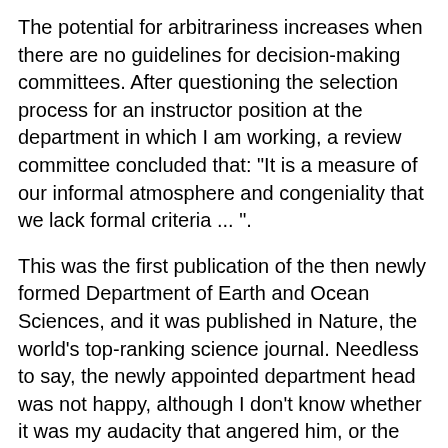The potential for arbitrariness increases when there are no guidelines for decision-making committees. After questioning the selection process for an instructor position at the department in which I am working, a review committee concluded that: "It is a measure of our informal atmosphere and congeniality that we lack formal criteria ... ".
This was the first publication of the then newly formed Department of Earth and Ocean Sciences, and it was published in Nature, the world's top-ranking science journal. Needless to say, the newly appointed department head was not happy, although I don't know whether it was my audacity that angered him, or the review committee's stupidity, or Lewis's for that matter.
But, why am I telling you this?
Because when the letter was published, I fully expected that people would see clearly now and therefore be on my side. Instead, I found myself ostracized by about 80% of the Oceanography department members, faculty, staff, and graduate students alike. I even received an anonymous handwritten note in my mailbox saying not to use H.R.O...